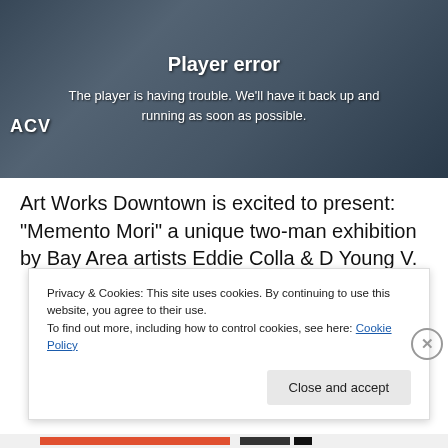[Figure (screenshot): Video player showing error state with dark background and person/artwork visible beneath overlay]
Player error
The player is having trouble. We'll have it back up and running as soon as possible.
Art Works Downtown is excited to present: “Memento Mori” a unique two-man exhibition by Bay Area artists Eddie Colla & D Young V.
Privacy & Cookies: This site uses cookies. By continuing to use this website, you agree to their use.
To find out more, including how to control cookies, see here: Cookie Policy